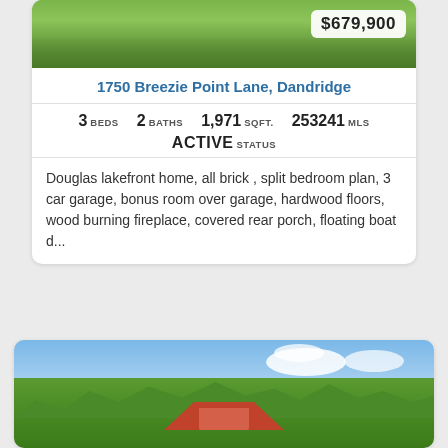[Figure (photo): Top portion of a real estate listing card showing green lawn/grass area with a price badge of $679,900 in the upper right corner]
1750 Breezie Point Lane, Dandridge
3 BEDS   2 BATHS   1,971 SQFT.   253241 MLS
ACTIVE STATUS
Douglas lakefront home, all brick , split bedroom plan, 3 car garage, bonus room over garage, hardwood floors, wood burning fireplace, covered rear porch, floating boat d...
[Figure (photo): Bottom real estate listing card showing a house with red/orange roof partially visible among large green trees under a blue sky with clouds]